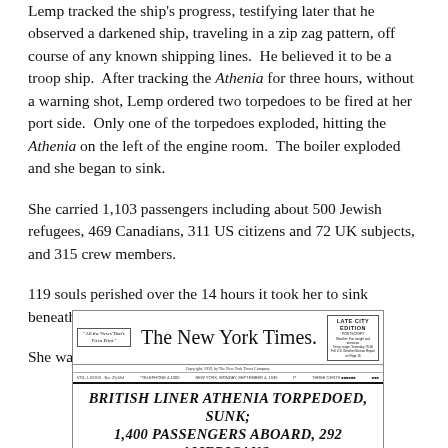Lemp tracked the ship's progress, testifying later that he observed a darkened ship, traveling in a zip zag pattern, off course of any known shipping lines.  He believed it to be a troop ship.  After tracking the Athenia for three hours, without a warning shot, Lemp ordered two torpedoes to be fired at her port side.  Only one of the torpedoes exploded, hitting the Athenia on the left of the engine room.  The boiler exploded and she began to sink.
She carried 1,103 passengers including about 500 Jewish refugees, 469 Canadians, 311 US citizens and 72 UK subjects, and 315 crew members.
119 souls perished over the 14 hours it took her to sink beneath the Atlantic.
She was the first ship torpedoed in World War II.
[Figure (screenshot): New York Times newspaper front page header showing masthead 'The New York Times' with motto box on left, Late City Edition box on right, and headline reading 'BRITISH LINER ATHENIA TORPEDOED, SUNK; 1,400 PASSENGERS ABOARD, 292 AMERICANS; ALL EXCEPT A FEW ARE REPORTED SAVED']